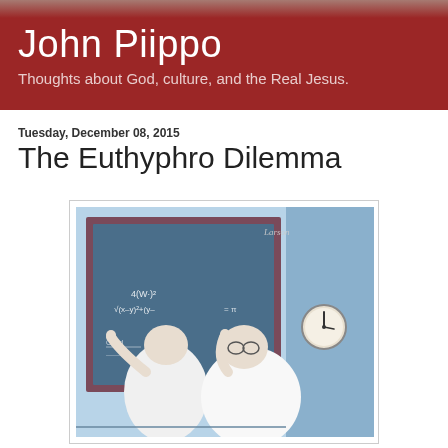John Piippo
Thoughts about God, culture, and the Real Jesus.
Tuesday, December 08, 2015
The Euthyphro Dilemma
[Figure (illustration): A Gary Larson Far Side cartoon showing two large figures (scientists or professors) standing at a chalkboard with math equations written on it. One figure points at the board. A clock is visible on the blue wall to the right. The cartoon is signed 'Larson'.]